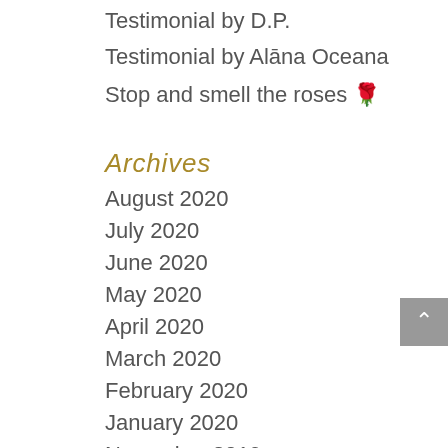Testimonial by D.P.
Testimonial by Alāna Oceana
Stop and smell the roses 🌹
Archives
August 2020
July 2020
June 2020
May 2020
April 2020
March 2020
February 2020
January 2020
November 2019